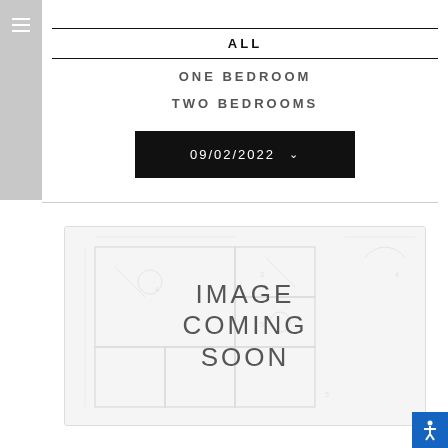≡
ALL
ONE BEDROOM
TWO BEDROOMS
09/02/2022
[Figure (illustration): IMAGE COMING SOON placeholder with faint architectural floor plan blueprint in background]